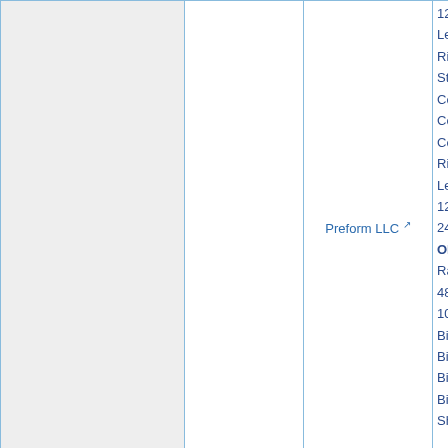| (col1) | (col2) | Manufacturer | Products |
| --- | --- | --- | --- |
|  |  | Preform LLC | 12" x 3'
Left Arro
Right Ar
Straight
Comb. S
Comb. S
Comb. S
Right La
Left Lan
12" x 18"
24" x 36
ONLY M
Railroad
48" x 48
104859W
Bicycle 
Bike Lan
Bike Lan
Bike Lan
Sharrow |